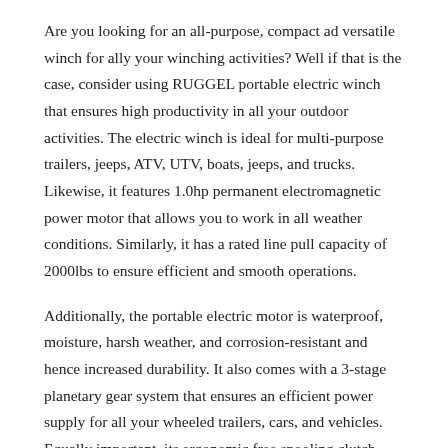Are you looking for an all-purpose, compact ad versatile winch for ally your winching activities? Well if that is the case, consider using RUGGEL portable electric winch that ensures high productivity in all your outdoor activities. The electric winch is ideal for multi-purpose trailers, jeeps, ATV, UTV, boats, jeeps, and trucks. Likewise, it features 1.0hp permanent electromagnetic power motor that allows you to work in all weather conditions. Similarly, it has a rated line pull capacity of 2000lbs to ensure efficient and smooth operations.
Additionally, the portable electric motor is waterproof, moisture, harsh weather, and corrosion-resistant and hence increased durability. It also comes with a 3-stage planetary gear system that ensures an efficient power supply for all your wheeled trailers, cars, and vehicles. Equally important, its ergonomic free spooling clutch allows you to engage and disengage easily. Besides, it features a dynamic and mechanical brake to control your winching and hold it still when desired. The portal, an electric winch is reliable, durable, and functional for maximum